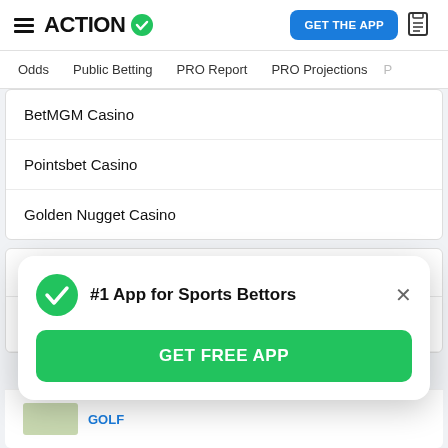ACTION (logo with checkmark)
GET THE APP
Odds | Public Betting | PRO Report | PRO Projections
BetMGM Casino
Pointsbet Casino
Golden Nugget Casino
Top Stories
Cardinals   MLB
[Figure (screenshot): Popup banner: #1 App for Sports Bettors with GET FREE APP button]
GOLF